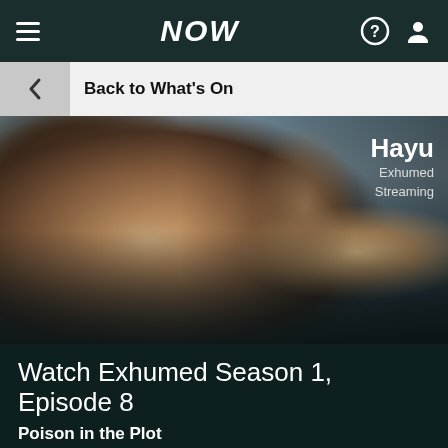NOW
Back to What's On
[Figure (screenshot): Blurred photo of a person lying down, used as background for Exhumed TV show episode page on NOW streaming app. Hayu channel badge appears in top-right corner with text 'Hayu', 'Exhumed', 'Streaming'.]
Watch Exhumed Season 1, Episode 8
Poison in the Plot